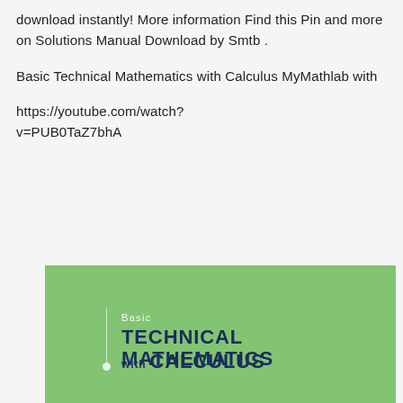download instantly! More information Find this Pin and more on Solutions Manual Download by Smtb .
Basic Technical Mathematics with Calculus MyMathlab with
https://youtube.com/watch?v=PUB0TaZ7bhA
[Figure (illustration): Book cover for 'Basic Technical Mathematics with Calculus' on a green background. The cover shows 'Basic' in white small text, then 'TECHNICAL MATHEMATICS' in large dark navy bold uppercase text, and 'with CALCULUS' below in dark navy bold uppercase text. A thin vertical white line runs down the left portion of the cover.]